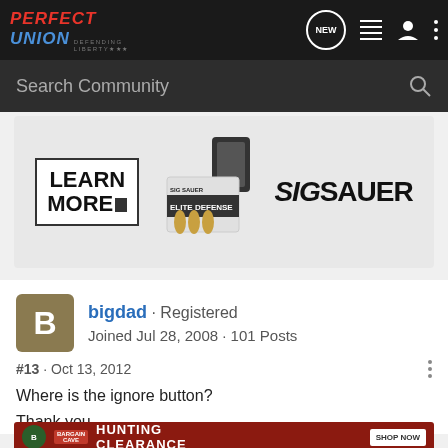Perfect Union - Defending Liberty - Search Community
[Figure (screenshot): SIG Sauer Elite Defense advertisement banner with ammunition and magazine image and LEARN MORE button]
bigdad · Registered
Joined Jul 28, 2008 · 101 Posts
#13 · Oct 13, 2012
Where is the ignore button?
Thank you
[Figure (screenshot): Bass Pro Shops Bargain Cave Hunting Clearance - Shop Now advertisement banner]